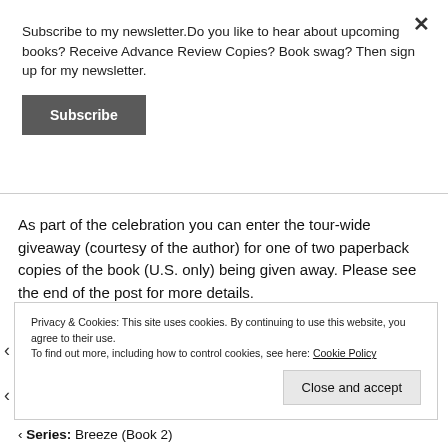Subscribe to my newsletter.Do you like to hear about upcoming books? Receive Advance Review Copies? Book swag? Then sign up for my newsletter.
Subscribe
As part of the celebration you can enter the tour-wide giveaway (courtesy of the author) for one of two paperback copies of the book (U.S. only) being given away. Please see the end of the post for more details.
Privacy & Cookies: This site uses cookies. By continuing to use this website, you agree to their use.
To find out more, including how to control cookies, see here: Cookie Policy
Close and accept
Series: Breeze (Book 2)